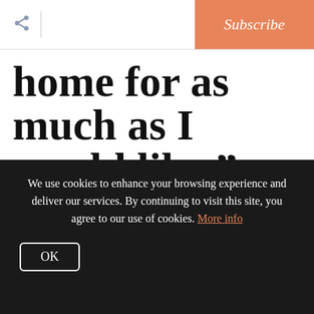Subscribe
home for as much as I would like.”
Depending on the age of your property, your agent may suggest making a few repairs in order to command the highest price. The extent of repairs needed often has to
We use cookies to enhance your browsing experience and deliver our services. By continuing to visit this site, you agree to our use of cookies. More info
OK